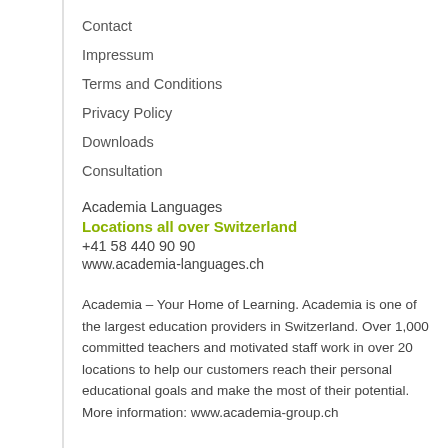Contact
Impressum
Terms and Conditions
Privacy Policy
Downloads
Consultation
Academia Languages
Locations all over Switzerland
+41 58 440 90 90
www.academia-languages.ch
Academia – Your Home of Learning. Academia is one of the largest education providers in Switzerland. Over 1,000 committed teachers and motivated staff work in over 20 locations to help our customers reach their personal educational goals and make the most of their potential. More information: www.academia-group.ch